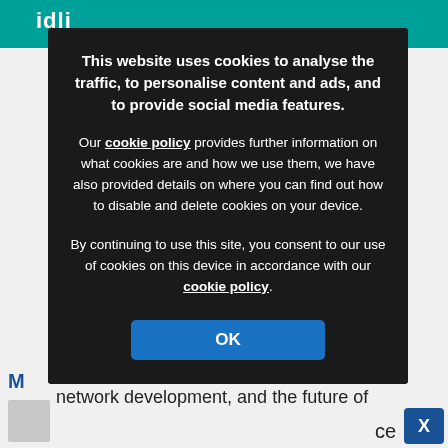[Figure (screenshot): Website background with teal header bar showing partial logo and navigation icons, and partial article text visible below the cookie modal.]
This website uses cookies to analyse the traffic, to personalise content and ads, and to provide social media features.
Our cookie policy provides further information on what cookies are and how we use them, we have also provided details on where you can find out how to disable and delete cookies on your device.
By continuing to use this site, you consent to our use of cookies on this device in accordance with our cookie policy.
OK
views on workforce, workload, primary care network development, and the future of